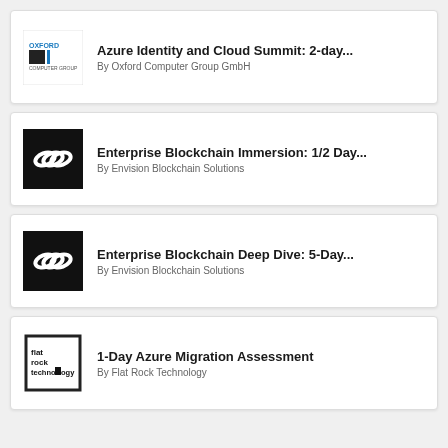[Figure (logo): Oxford Computer Group GmbH logo with black square and text OXFORD in blue]
Azure Identity and Cloud Summit: 2-day...
By Oxford Computer Group GmbH
[Figure (logo): Envision Blockchain Solutions logo - black square with chain links icon]
Enterprise Blockchain Immersion: 1/2 Day...
By Envision Blockchain Solutions
[Figure (logo): Envision Blockchain Solutions logo - black square with chain links icon]
Enterprise Blockchain Deep Dive: 5-Day...
By Envision Blockchain Solutions
[Figure (logo): Flat Rock Technology logo - black square outline with text 'flat rock technology']
1-Day Azure Migration Assessment
By Flat Rock Technology